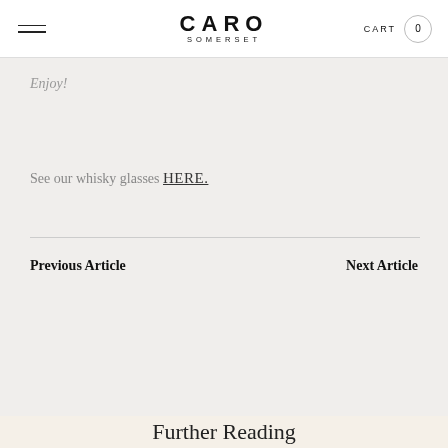CARO SOMERSET | CART 0
Enjoy!
See our whisky glasses HERE.
Previous Article
Next Article
Further Reading